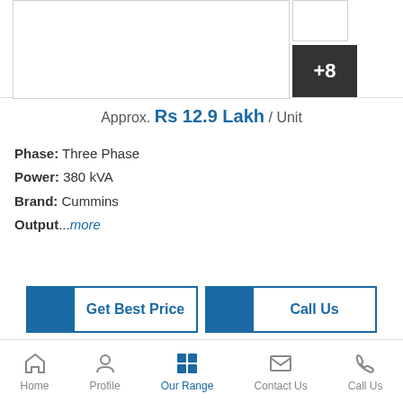[Figure (photo): Product image area with main image box and thumbnail, plus +8 overlay indicating additional images]
Approx. Rs 12.9 Lakh / Unit
Phase: Three Phase
Power: 380 kVA
Brand: Cummins
Output...more
Get Best Price
Call Us
32 Kva Tata Cummins Semi Brand New Generator Set
Home  Profile  Our Range  Contact Us  Call Us